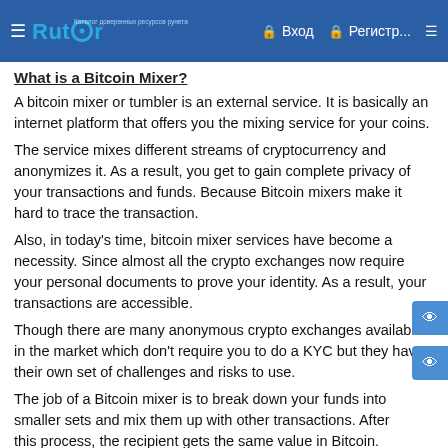Rutor — Вход  Регистр...
What is a Bitcoin Mixer?
A bitcoin mixer or tumbler is an external service. It is basically an internet platform that offers you the mixing service for your coins.
The service mixes different streams of cryptocurrency and anonymizes it. As a result, you get to gain complete privacy of your transactions and funds. Because Bitcoin mixers make it hard to trace the transaction.
Also, in today's time, bitcoin mixer services have become a necessity. Since almost all the crypto exchanges now require your personal documents to prove your identity. As a result, your transactions are accessible.
Though there are many anonymous crypto exchanges available in the market which don't require you to do a KYC but they have their own set of challenges and risks to use.
The job of a Bitcoin mixer is to break down your funds into smaller sets and mix them up with other transactions. After this process, the recipient gets the same value in Bitcoin. But instead, they receive a different set of coins.
As a result, bitcoin tracing becomes more difficult, and the